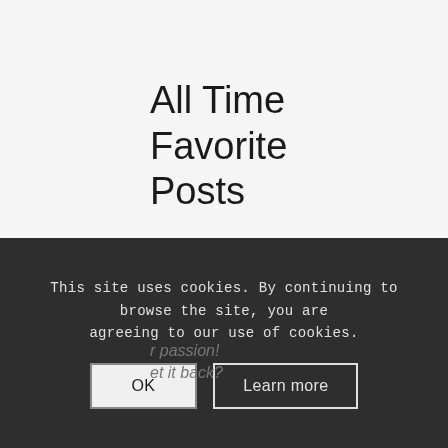All Time Favorite Posts
How to manifest like a pro
367 views
I'm meant to serve,
but how?
192 views
passion
et it back?
This site uses cookies. By continuing to browse the site, you are agreeing to our use of cookies.
OK
Learn more